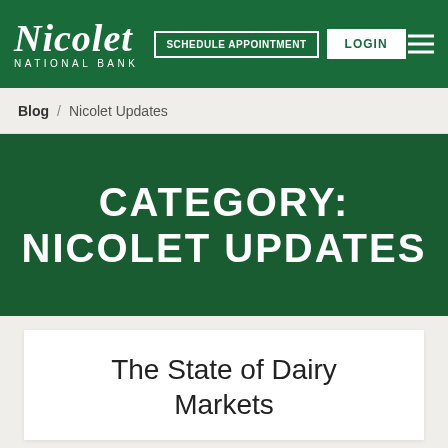Nicolet National Bank — SCHEDULE APPOINTMENT | LOGIN
Blog / Nicolet Updates
CATEGORY: NICOLET UPDATES
The State of Dairy Markets